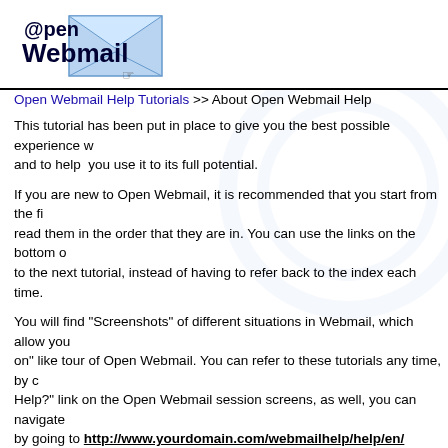[Figure (logo): Open Webmail logo with envelope icon and @pen Webmail text]
Open Webmail Help Tutorials >> About Open Webmail Help
This tutorial has been put in place to give you the best possible experience w... and to help you use it to its full potential.
If you are new to Open Webmail, it is recommended that you start from the fi... read them in the order that they are in. You can use the links on the bottom o... to the next tutorial, instead of having to refer back to the index each time.
You will find "Screenshots" of different situations in Webmail, which allow you... on" like tour of Open Webmail. You can refer to these tutorials any time, by c... Help?" link on the Open Webmail session screens, as well, you can navigate... by going to http://www.yourdomain.com/webmailhelp/help/en/ (where yo... the name and extension of your domain.).
The Open Webmail Tutorials were originally developed by: Brent Epp and Wi... Precision Design Co. , Altona, Manitoba, Canada.
If you find an error or feel that these tutorials are lacking something, feel free... us!  (Please put the text "Open Webmail" in the subject line)
Please note that we do not provide personal technical support for Open Web... administrators.  Please e-mail us only to suggest information be put in the Op... tutorial, such as links, resources, or other topics you may like to see covered... If you need help using Open Webmail, please browse these tutorials to fi...